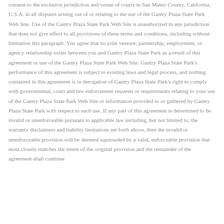consent to the exclusive jurisdiction and venue of courts in San Mateo County, California, U.S.A. in all disputes arising out of or relating to the use of the Gantry Plaza State Park Web Site. Use of the Gantry Plaza State Park Web Site is unauthorized in any jurisdiction that does not give effect to all provisions of these terms and conditions, including without limitation this paragraph. You agree that no joint venture, partnership, employment, or agency relationship exists between you and Gantry Plaza State Park as a result of this agreement or use of the Gantry Plaza State Park Web Site. Gantry Plaza State Park's performance of this agreement is subject to existing laws and legal process, and nothing contained in this agreement is in derogation of Gantry Plaza State Park's right to comply with governmental, court and law enforcement requests or requirements relating to your use of the Gantry Plaza State Park Web Site or information provided to or gathered by Gantry Plaza State Park with respect to such use. If any part of this agreement is determined to be invalid or unenforceable pursuant to applicable law including, but not limited to, the warranty disclaimers and liability limitations set forth above, then the invalid or unenforceable provision will be deemed superseded by a valid, enforceable provision that most closely matches the intent of the original provision and the remainder of the agreement shall continue